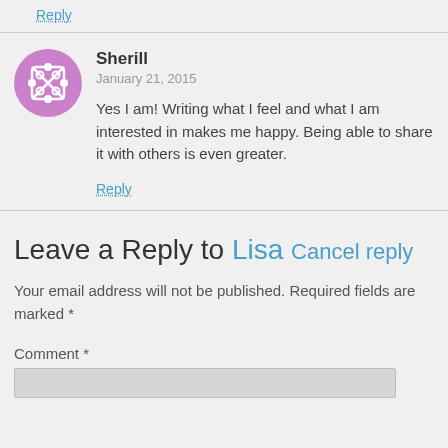Reply
Sherill
January 21, 2015
Yes I am! Writing what I feel and what I am interested in makes me happy. Being able to share it with others is even greater.
Reply
Leave a Reply to Lisa Cancel reply
Your email address will not be published. Required fields are marked *
Comment *